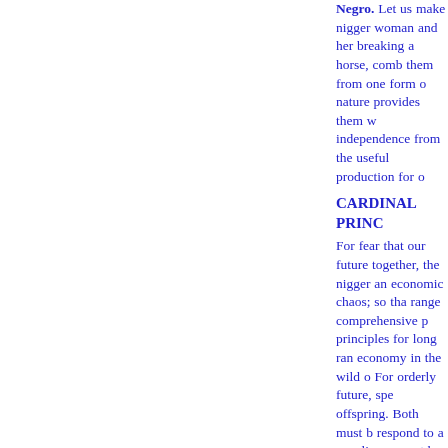Negro.  Let us make nigger woman and her breaking a horse, comb them from one form o nature provides them w independence from the useful production for o
CARDINAL PRINC
For fear that our future together, the nigger an economic chaos; so tha range comprehensive p principles for long ran economy in the wild o For orderly future, spe offspring. Both must b respond to a peculiar m must be created for bo following the discours all inclusive of the six economics. All princip and a wild or natur[al] customary freedom an are awake, and are awa requires too much labo natural state. Hence, b mental life to another. Now the breaking proc But, as we said before,